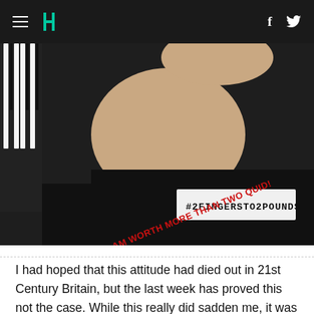HuffPost navigation with hamburger menu, logo, Facebook and Twitter icons
[Figure (photo): A person in a black t-shirt raising their arm showing inner arm skin, with red handwritten text reading 'BECAUSE I AM WORTH MORE THAN TWO QUID!' and a label sticker on the shirt reading '#2FINGERSTO2POUNDS']
I had hoped that this attitude had died out in 21st Century Britain, but the last week has proved this not the case. While this really did sadden me, it was the fact that as I added my voice to the #2fingersto2pounds Twitter campaign started by Shape Arts I began receiving tweets from